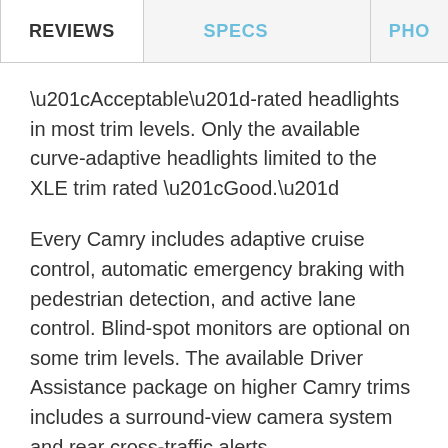REVIEWS | SPECS | PHO
“Acceptable”-rated headlights in most trim levels. Only the available curve-adaptive headlights limited to the XLE trim rated “Good.”
Every Camry includes adaptive cruise control, automatic emergency braking with pedestrian detection, and active lane control. Blind-spot monitors are optional on some trim levels. The available Driver Assistance package on higher Camry trims includes a surround-view camera system and rear cross-traffic alerts.